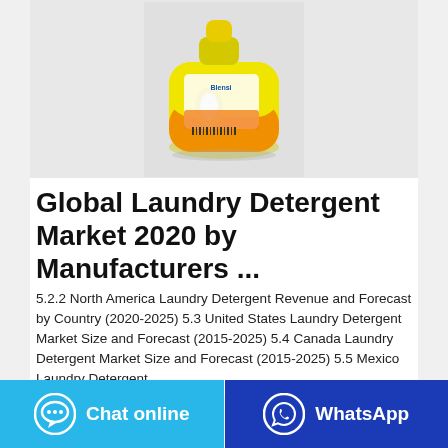[Figure (photo): Yellow laundry detergent bottle (Blensi brand) photographed against a light gray background, showing back label with orange and yellow design]
Global Laundry Detergent Market 2020 by Manufacturers ...
5.2.2 North America Laundry Detergent Revenue and Forecast by Country (2020-2025) 5.3 United States Laundry Detergent Market Size and Forecast (2015-2025) 5.4 Canada Laundry Detergent Market Size and Forecast (2015-2025) 5.5 Mexico Laundry Detergent